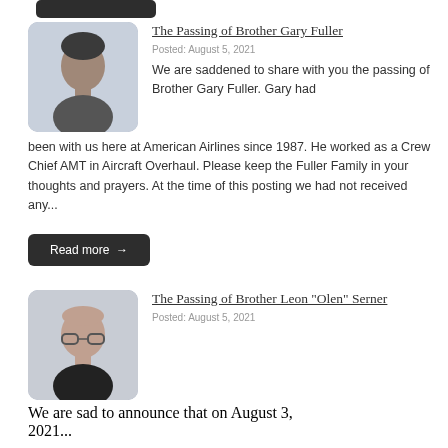[Figure (photo): Headshot of Brother Gary Fuller, a middle-aged man with dark hair against a light blue background]
The Passing of Brother Gary Fuller
Posted: August 5, 2021
We are saddened to share with you the passing of Brother Gary Fuller. Gary had been with us here at American Airlines since 1987. He worked as a Crew Chief AMT in Aircraft Overhaul. Please keep the Fuller Family in your thoughts and prayers. At the time of this posting we had not received any...
Read more →
[Figure (photo): Headshot of Brother Leon "Olen" Serner, an older man with glasses against a light background]
The Passing of Brother Leon "Olen" Serner
Posted: August 5, 2021
We are sad to announce that on August 3, 2021...